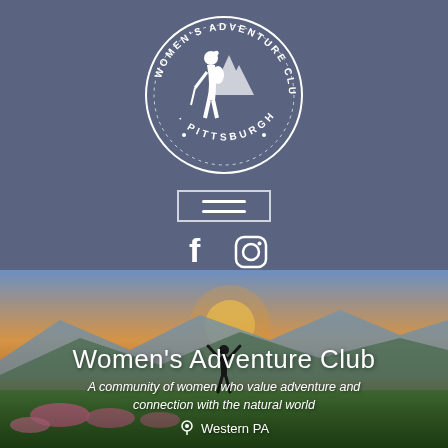[Figure (logo): Women's Adventure Club Pittsburgh circular logo with hiker silhouette on slate blue background]
[Figure (infographic): Hamburger menu icon (three horizontal lines) inside a rectangle border, on slate blue background]
[Figure (infographic): Facebook and Instagram social media icons in white on slate blue background]
[Figure (photo): Woman standing on a mountain meadow with wildflowers, arms raised, at sunset with mountains in background]
Women's Adventure Club
A community of women who value adventure and connection with the natural world
Western PA